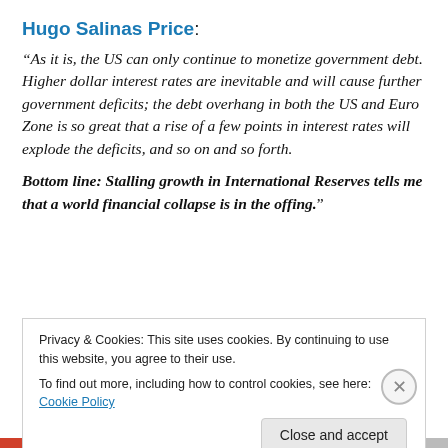Hugo Salinas Price:
“As it is, the US can only continue to monetize government debt. Higher dollar interest rates are inevitable and will cause further government deficits; the debt overhang in both the US and Euro Zone is so great that a rise of a few points in interest rates will explode the deficits, and so on and so forth.
Bottom line: Stalling growth in International Reserves tells me that a world financial collapse is in the offing.”
Privacy & Cookies: This site uses cookies. By continuing to use this website, you agree to their use.
To find out more, including how to control cookies, see here: Cookie Policy